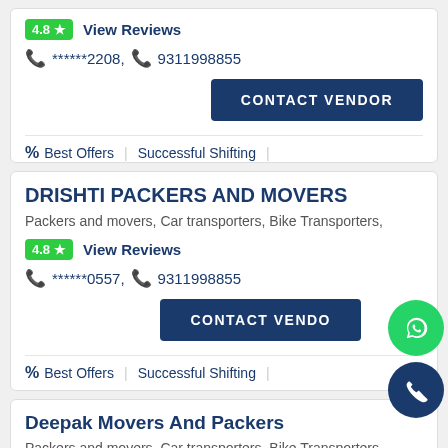4.8 ★  View Reviews
📞 ******2208,  📞 9311998855
CONTACT VENDOR
% Best Offers | Successful Shifting |
DRISHTI PACKERS AND MOVERS
Packers and movers, Car transporters, Bike Transporters,
4.8 ★  View Reviews
📞 ******0557,  📞 9311998855
CONTACT VENDOR
% Best Offers | Successful Shifting |
Deepak Movers And Packers
Packers and movers, Car transporters, Bike Transporters,